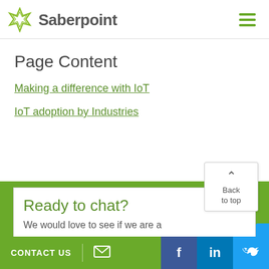[Figure (logo): Saberpoint logo: green geometric diamond/star icon on the left, followed by the text 'Saberpoint' in dark gray, and a green hamburger menu icon on the right]
Page Content
Making a difference with IoT
IoT adoption by Industries
Ready to chat?
We would love to see if we are a
[Figure (other): Back to top button with upward caret arrow and text 'Back to top']
CONTACT US  [email icon]  [Facebook] [LinkedIn] [Twitter]